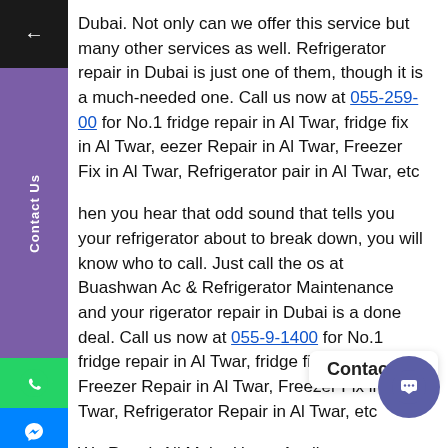Dubai. Not only can we offer this service but many other services as well. Refrigerator repair in Dubai is just one of them, though it is a much-needed one. Call us now at 055-259-00 for No.1 fridge repair in Al Twar, fridge fix in Al Twar, eezer Repair in Al Twar, Freezer Fix in Al Twar, Refrigerator pair in Al Twar, etc
hen you hear that odd sound that tells you your refrigerator about to break down, you will know who to call. Just call the os at Buashwan Ac & Refrigerator Maintenance and your rigerator repair in Dubai is a done deal. Call us now at 055-9-1400 for No.1 fridge repair in Al Twar, fridge fix in Al ar, Freezer Repair in Al Twar, Freezer Fix in Al Twar, Refrigerator Repair in Al Twar, etc
We Repair All Major Home Appliances commercial refrigeration repair, refrigerator repair service, washing